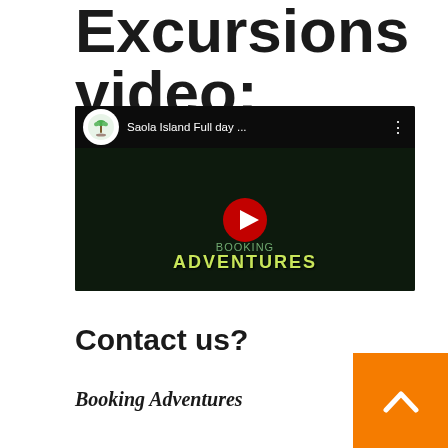Excursions video:
[Figure (screenshot): YouTube video thumbnail for 'Saola Island Full day ...' with a play button, dark background, and 'Booking Adventures' branding]
Contact us?
Booking Adventures